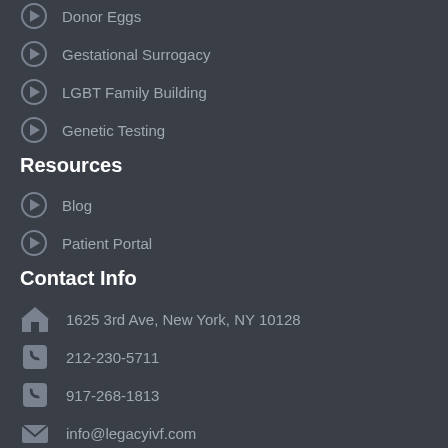Donor Eggs
Gestational Surrogacy
LGBT Family Building
Genetic Testing
Resources
Blog
Patient Portal
Contact Info
1625 3rd Ave, New York, NY 10128
212-230-5711
917-268-1813
info@legacyivf.com
Sign up for newsletters!
Name